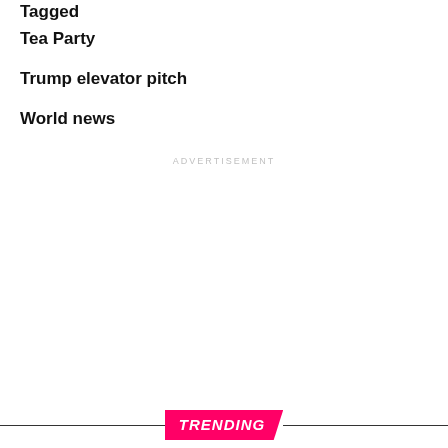Tagged
Tea Party
Trump elevator pitch
World news
ADVERTISEMENT
TRENDING